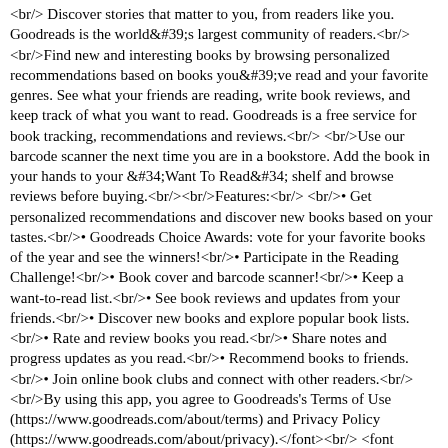<br/> Discover stories that matter to you, from readers like you. Goodreads is the world&#39;s largest community of readers.<br/><br/>Find new and interesting books by browsing personalized recommendations based on books you&#39;ve read and your favorite genres. See what your friends are reading, write book reviews, and keep track of what you want to read. Goodreads is a free service for book tracking, recommendations and reviews.<br/><br/>Use our barcode scanner the next time you are in a bookstore. Add the book in your hands to your &#34;Want To Read&#34; shelf and browse reviews before buying.<br/><br/>Features:<br/><br/>• Get personalized recommendations and discover new books based on your tastes.<br/>• Goodreads Choice Awards: vote for your favorite books of the year and see the winners!<br/>• Participate in the Reading Challenge!<br/>• Book cover and barcode scanner!<br/>• Keep a want-to-read list.<br/>• See book reviews and updates from your friends.<br/>• Discover new books and explore popular book lists.<br/>• Rate and review books you read.<br/>• Share notes and progress updates as you read.<br/>• Recommend books to friends.<br/>• Join online book clubs and connect with other readers.<br/><br/>By using this app, you agree to Goodreads's Terms of Use (https://www.goodreads.com/about/terms) and Privacy Policy (https://www.goodreads.com/about/privacy).</font><br/> <font size="2" face="Helvetica,Arial,Geneva,Swiss,SunSans-Regular"> &#169; © 2010 - 2022 Goodreads Inc.</font> </td> </tr> </table>